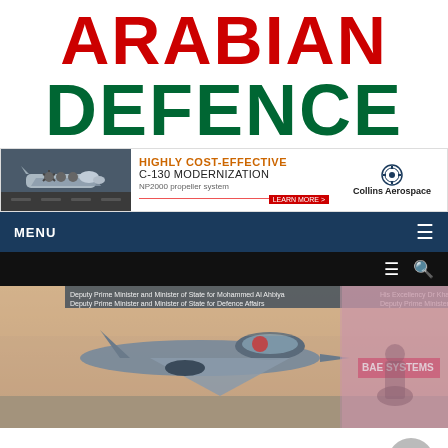ARABIAN DEFENCE
[Figure (screenshot): Collins Aerospace advertisement for C-130 Modernization with NP2000 propeller system, showing a C-130 aircraft image on the left, advertisement text in the center, and Collins Aerospace logo on the right.]
MENU
[Figure (photo): Hero image showing a Eurofighter Typhoon fighter jet on the ground in a desert setting, with a military officer standing beside it. A BAE SYSTEMS banner is visible on the right side. Small text reads: Deputy Prime Minister and Minister of State for Mohammed Al Ahbiya, His Excellency Dr Kha, Deputy Prime Minister and M.]
Qatar receives its first Eurofighter Typhoon